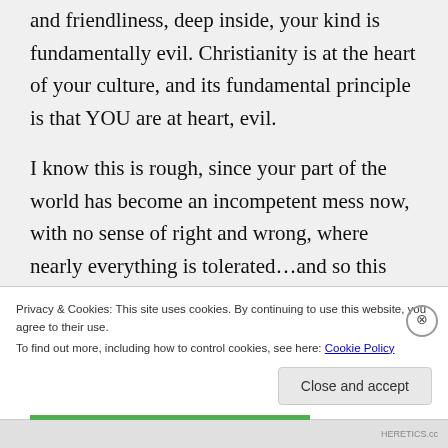and friendliness, deep inside, your kind is fundamentally evil. Christianity is at the heart of your culture, and its fundamental principle is that YOU are at heart, evil.

I know this is rough, since your part of the world has become an incompetent mess now, with no sense of right and wrong, where nearly everything is tolerated…and so this truth may seem harsh, but I think this 'awakening' is necessary for you in the
Privacy & Cookies: This site uses cookies. By continuing to use this website, you agree to their use.
To find out more, including how to control cookies, see here: Cookie Policy
Close and accept